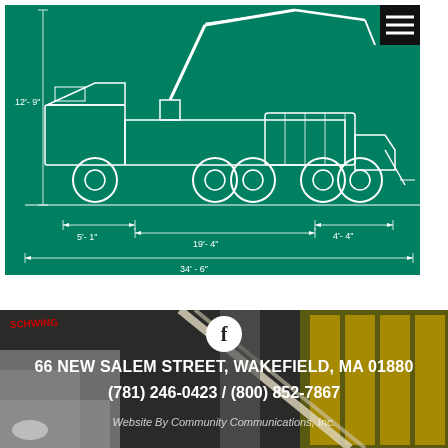[Figure (engineering-diagram): Technical side-view schematic of a concrete pump truck (Schwing) on a green background. Dimensions labeled: 12'-9" height, 5'-1", 19'-4", 4'-4" axle spacings, overall length 34'-6".]
[Figure (photo): Photo of construction equipment/concrete pump truck boom arm in a building/warehouse setting, with yellow scaffolding visible. Schwing branding visible. Facebook icon circle overlay. Contact information overlaid.]
66 NEW SALEM STREET, WAKEFIELD, MA 01880
(781) 246-0423 / (800) 852-7867
Website By Community Communications, Inc.